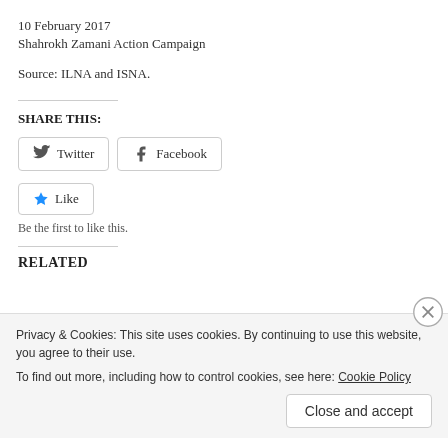10 February 2017
Shahrokh Zamani Action Campaign
Source: ILNA and ISNA.
SHARE THIS:
[Figure (infographic): Twitter and Facebook share buttons, and Like button with star icon]
Be the first to like this.
RELATED
Privacy & Cookies: This site uses cookies. By continuing to use this website, you agree to their use.
To find out more, including how to control cookies, see here: Cookie Policy
Close and accept